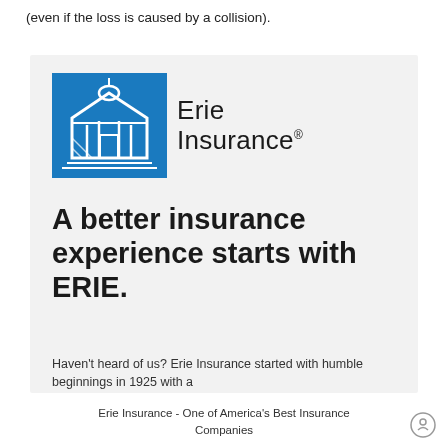(even if the loss is caused by a collision).
[Figure (logo): Erie Insurance logo — blue building icon with white architectural line art on left, 'Erie Insurance' text in dark gray on right with registered trademark symbol]
A better insurance experience starts with ERIE.
Haven't heard of us? Erie Insurance started with humble beginnings in 1925 with a
Erie Insurance - One of America's Best Insurance Companies